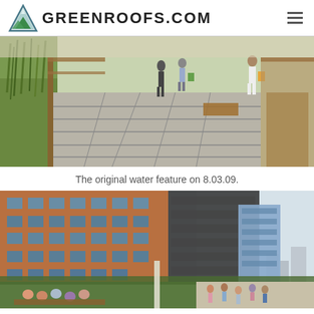GREENROOFS.COM
[Figure (photo): Elevated walkway with stone pavers flanked by tall grasses and wooden railings; people walking in summer, photo dated 8.03.09]
The original water feature on 8.03.09.
[Figure (photo): Urban rooftop garden/park with brick buildings and a building under construction; crowds of people sitting and walking along a landscaped elevated path with city skyline in background]